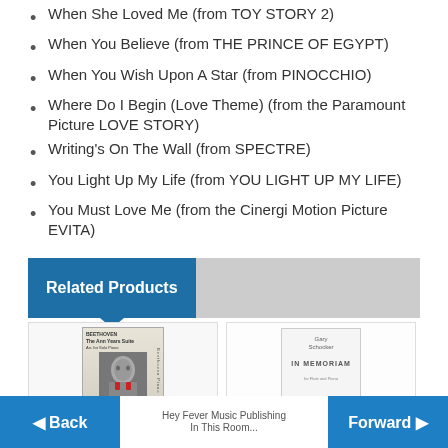When She Loved Me (from TOY STORY 2)
When You Believe (from THE PRINCE OF EGYPT)
When You Wish Upon A Star (from PINOCCHIO)
Where Do I Begin (Love Theme) (from the Paramount Picture LOVE STORY)
Writing's On The Wall (from SPECTRE)
You Light Up My Life (from YOU LIGHT UP MY LIFE)
You Must Love Me (from the Cinergi Motion Picture EVITA)
Related Products
[Figure (photo): Book cover: Beethoven - The Ann Years Suite]
[Figure (photo): Book cover: Gary Schocker - In Memoriam]